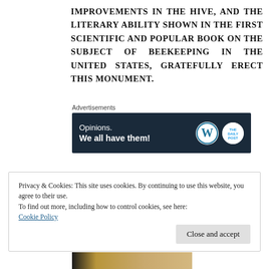IMPROVEMENTS IN THE HIVE, AND THE LITERARY ABILITY SHOWN IN THE FIRST SCIENTIFIC AND POPULAR BOOK ON THE SUBJECT OF BEEKEEPING IN THE UNITED STATES, GRATEFULLY ERECT THIS MONUMENT.
Advertisements
[Figure (other): Dark navy advertisement banner reading 'Opinions. We all have them!' with WordPress and Daily Post logos on the right]
Privacy & Cookies: This site uses cookies. By continuing to use this website, you agree to their use.
To find out more, including how to control cookies, see here:
Cookie Policy
Close and accept